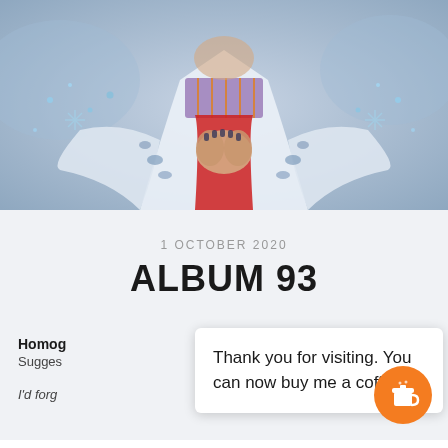[Figure (photo): Person wearing a white and blue floral kimono with a purple and orange obi sash, hands clasped together with dark painted nails, surrounded by blue sparkle effects on a grey-blue background]
1 OCTOBER 2020
ALBUM 93
Homog
Sugges
I'd forg
Thank you for visiting. You can now buy me a coffee!